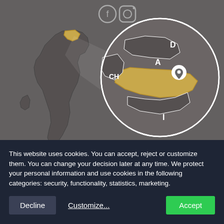[Figure (map): Map of Italy with a highlighted region in the northwest (Valle d'Aosta/Aosta Valley), with a zoom circle showing a detailed view of the region bordered by CH (Switzerland), D (Germany/north), A (Austria), and I (Italy). The highlighted region is shown in golden/amber color with a white location pin marker.]
This website uses cookies. You can accept, reject or customize them. You can change your decision later at any time. We protect your personal information and use cookies in the following categories: security, functionality, statistics, marketing.
Decline
Customize...
Accept